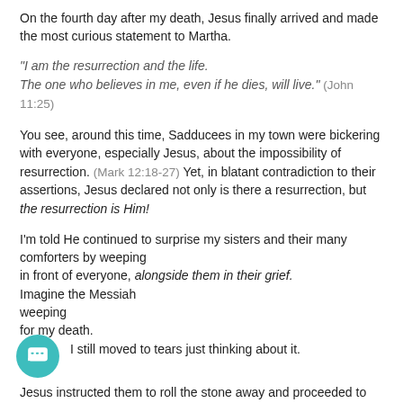On the fourth day after my death, Jesus finally arrived and made the most curious statement to Martha.
"I am the resurrection and the life. The one who believes in me, even if he dies, will live." (John 11:25)
You see, around this time, Sadducees in my town were bickering with everyone, especially Jesus, about the impossibility of resurrection. (Mark 12:18-27) Yet, in blatant contradiction to their assertions, Jesus declared not only is there a resurrection, but the resurrection is Him!
I'm told He continued to surprise my sisters and their many comforters by weeping
in front of everyone, alongside them in their grief.
Imagine the Messiah
weeping
for my death.
I still moved to tears just thinking about it.
Jesus instructed them to roll the stone away and proceeded to